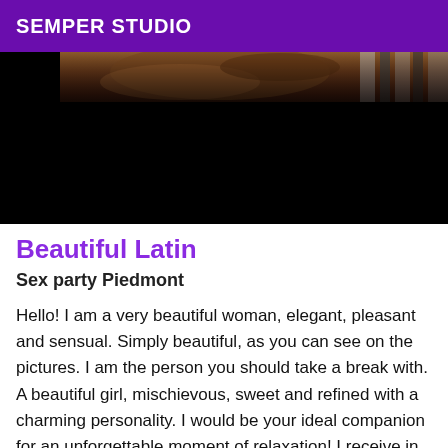SEMPER STUDIO
[Figure (photo): Partial photo of a woman with auburn/brown hair, mostly obscured by a black area below]
Beautiful Latin
Sex party Piedmont
Hello! I am a very beautiful woman, elegant, pleasant and sensual. Simply beautiful, as you can see on the pictures. I am the person you should take a break with. A beautiful girl, mischievous, sweet and refined with a charming personality. I would be your ideal companion for an unforgettable moment of relaxation! I receive in a quiet, elegant and clean place. Reserved for polite,